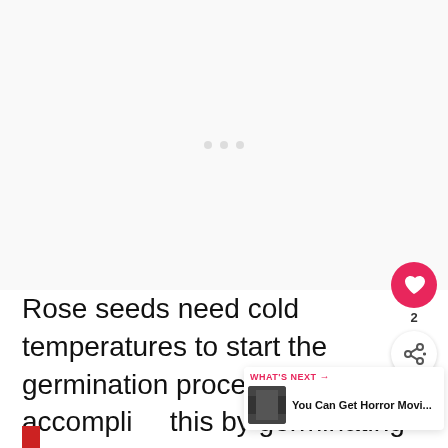[Figure (other): Blank/white content area placeholder representing an image or advertisement space at the top of the page]
Rose seeds need cold temperatures to start the germination process, you can accomplish this by germinating them in your refrigerators crisper drawer.